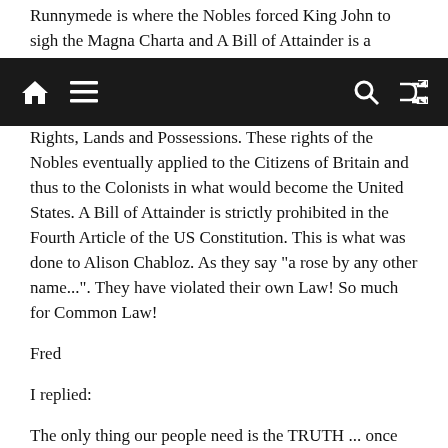Runnymede is where the Nobles forced King John to sigh the Magna Charta and A Bill of Attainder is a
[navigation bar with home, menu, search, shuffle icons]
Rights, Lands and Possessions. These rights of the Nobles eventually applied to the Citizens of Britain and thus to the Colonists in what would become the United States. A Bill of Attainder is strictly prohibited in the Fourth Article of the US Constitution. This is what was done to Alison Chabloz. As they say "a rose by any other name...". They have violated their own Law! So much for Common Law!
Fred
I replied:
The only thing our people need is the TRUTH ... once they perceive the TRUTH, they will do whatever is necessary.